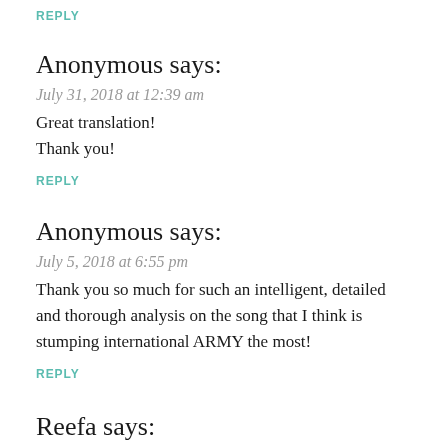REPLY
Anonymous says:
July 31, 2018 at 12:39 am
Great translation!
Thank you!
REPLY
Anonymous says:
July 5, 2018 at 6:55 pm
Thank you so much for such an intelligent, detailed and thorough analysis on the song that I think is stumping international ARMY the most!
REPLY
Reefa says:
June 28, 2018 at 8:15 am